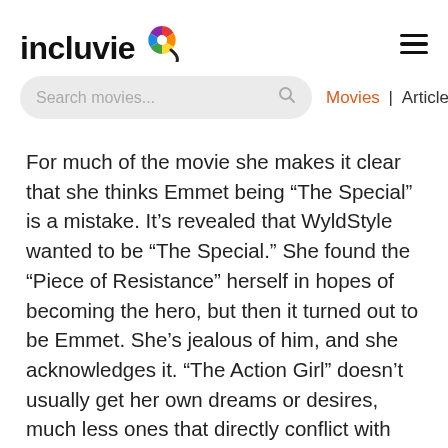incluvie
Search movies...
Movies | Articles
For much of the movie she makes it clear that she thinks Emmet being “The Special” is a mistake. It’s revealed that WyldStyle wanted to be “The Special.” She found the “Piece of Resistance” herself in hopes of becoming the hero, but then it turned out to be Emmet. She’s jealous of him, and she acknowledges it. “The Action Girl” doesn’t usually get her own dreams or desires, much less ones that directly conflict with those of the